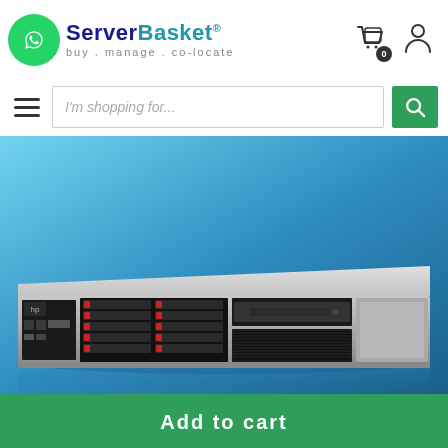[Figure (logo): ServerBasket logo with WhatsApp icon on left and brand name 'ServerBasket' with tagline 'buy . manage . co-locate']
[Figure (screenshot): Search bar with hamburger menu icon on left, placeholder text 'I'm shopping for...' and green search button on right]
[Figure (photo): HP ProLiant server rack unit (2U) on blue gradient background with drive bays visible on front panel]
Add to cart